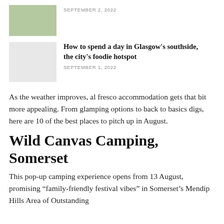[Figure (photo): Small thumbnail image of food items, partially visible at top]
SEPTEMBER 2, 2022
[Figure (photo): Light grey placeholder thumbnail image]
How to spend a day in Glasgow's southside, the city's foodie hotspot
SEPTEMBER 1, 2022
As the weather improves, al fresco accommodation gets that bit more appealing. From glamping options to back to basics digs, here are 10 of the best places to pitch up in August.
Wild Canvas Camping, Somerset
This pop-up camping experience opens from 13 August, promising “family-friendly festival vibes” in Somerset’s Mendip Hills Area of Outstanding